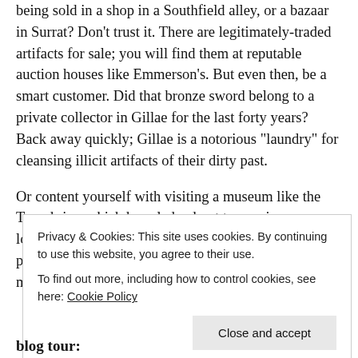being sold in a shop in a Southfield alley, or a bazaar in Surrat? Don't trust it. There are legitimately-traded artifacts for sale; you will find them at reputable auction houses like Emmerson's. But even then, be a smart customer. Did that bronze sword belong to a private collector in Gillae for the last forty years? Back away quickly; Gillae is a notorious "laundry" for cleansing illicit artifacts of their dirty past.
Or content yourself with visiting a museum like the Tomphries, which has pledged not to acquire any more looted antiquities, and has even repatriated a few pieces known to be stolen. Such a choice is the true mark of the respectful connoisseur...
Privacy & Cookies: This site uses cookies. By continuing to use this website, you agree to their use.
To find out more, including how to control cookies, see here: Cookie Policy
Close and accept
blog tour: